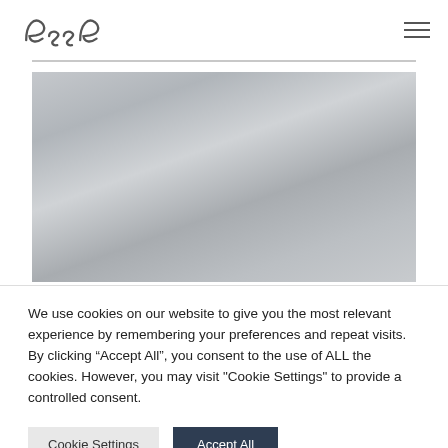esse [logo] with hamburger menu icon
[Figure (photo): A muted grey-toned abstract or landscape photo with soft cloud-like or misty textures]
We use cookies on our website to give you the most relevant experience by remembering your preferences and repeat visits. By clicking “Accept All”, you consent to the use of ALL the cookies. However, you may visit "Cookie Settings" to provide a controlled consent.
Cookie Settings   Accept All